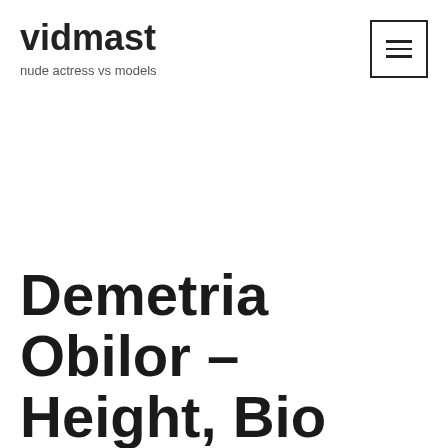vidmast
nude actress vs models
Demetria Obilor – Height, Weight, Bio